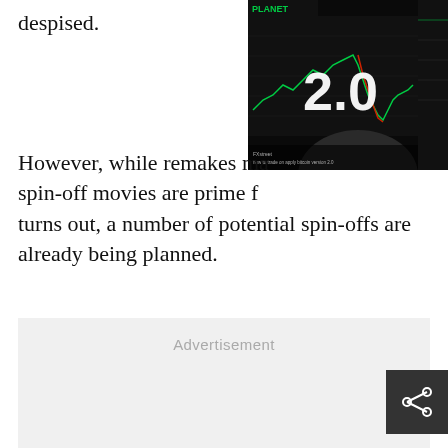despised.
[Figure (screenshot): Screenshot of a trading chart on a monitor with '2.0' text overlay, showing green and red candlestick chart. A 'Planet' logo is visible in top left corner.]
However, while remakes may be spin-off movies are prime fa turns out, a number of potential spin-offs are already being planned.
Advertisement